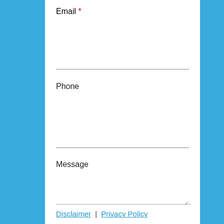Email *
Phone
Message
Disclaimer | Privacy Policy